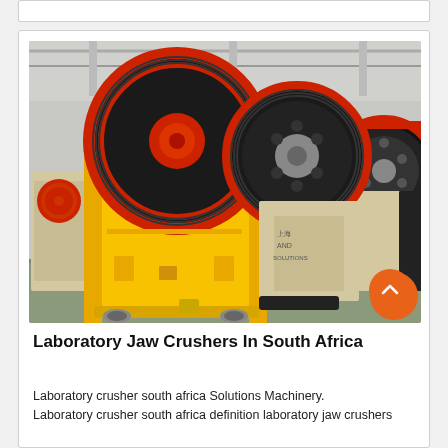[Figure (photo): Industrial jaw crushers in a factory setting. Large yellow jaw crushers with red and black flywheels are prominently displayed in a manufacturing facility. Multiple units visible in a row.]
Laboratory Jaw Crushers In South Africa
Laboratory crusher south africa Solutions Machinery. Laboratory crusher south africa definition laboratory jaw crushers